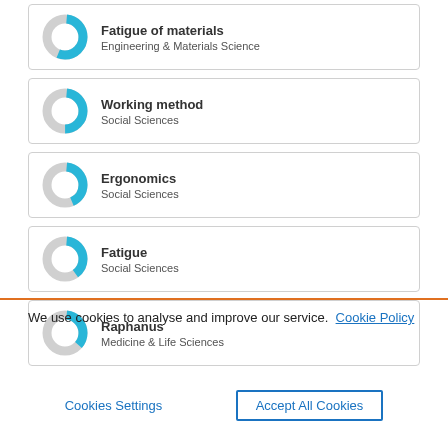Fatigue of materials - Engineering & Materials Science
Working method - Social Sciences
Ergonomics - Social Sciences
Fatigue - Social Sciences
Raphanus - Medicine & Life Sciences
We use cookies to analyse and improve our service. Cookie Policy
Cookies Settings  Accept All Cookies